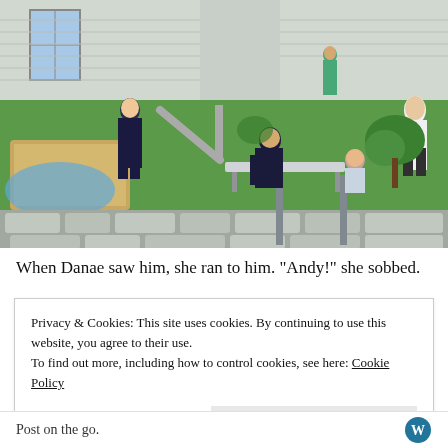[Figure (screenshot): A screenshot from The Sims 3 game showing characters in a suburban outdoor setting. A firefighter/police character bends over a bench, two female characters kneel/stand nearby in distress, another character approaches in the background. Green grass, a house, playground equipment visible.]
When Danae saw him, she ran to him. “Andy!” she sobbed.
Privacy & Cookies: This site uses cookies. By continuing to use this website, you agree to their use.
To find out more, including how to control cookies, see here: Cookie Policy
Close and accept
Post on the go.